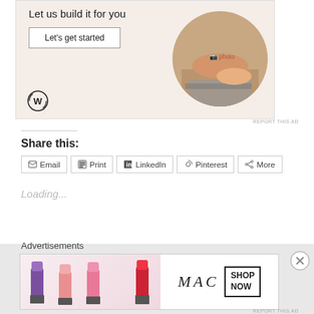[Figure (screenshot): WordPress advertisement banner: 'Let us build it for you' with a 'Let's get started' button, WordPress logo, and a circular photo of hands typing on a laptop]
REPORT THIS AD
Share this:
Email  Print  LinkedIn  Pinterest  More
Loading...
Advertisements
[Figure (screenshot): MAC cosmetics advertisement showing colorful lipsticks with 'MAC' logo and 'SHOP NOW' button]